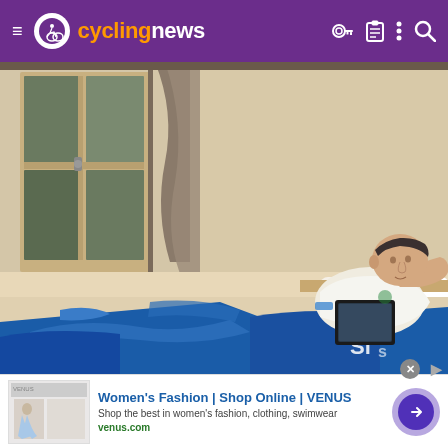cyclingnews
[Figure (photo): Man lying on hotel bed reading a tablet, with blue cycling gear/clothing spread in front of him. Room has window with curtain and small lamp on nightstand.]
[Figure (infographic): Advertisement banner: Women's Fashion | Shop Online | VENUS. Shop the best in women's fashion, clothing, swimwear. venus.com]